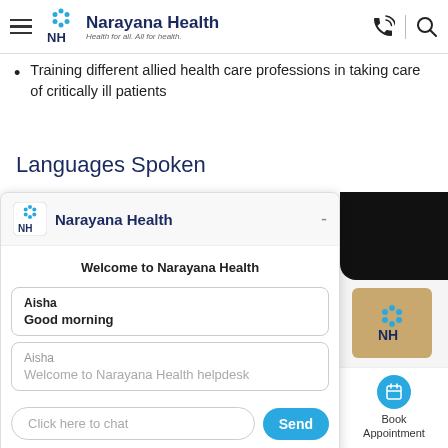Narayana Health — Health for all. All for health.
Training different allied health care professions in taking care of critically ill patients
Languages Spoken
[Figure (screenshot): Narayana Health chat widget overlay showing a welcome message, chat messages from 'Aisha' saying 'Good morning' and 'Welcome to Narayana Health helpdesk', a text input field with placeholder 'Click here to chat' and a blue 'Send' button]